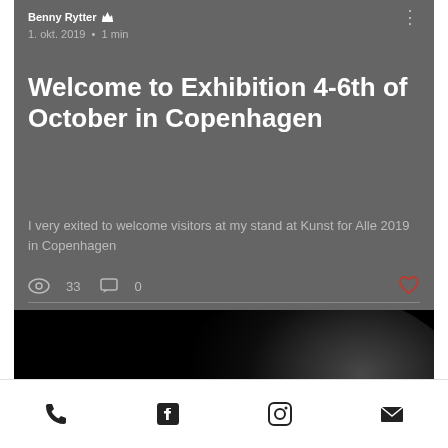Benny Rytter · 1. okt. 2019 · 1 min
Welcome to Exhibition 4-6th of October in Copenhagen
I very exited to welcome visitors at my stand at Kunst for Alle 2019 in Copenhagen
👁 33   💬 0   ♡
[Figure (photo): Black and white artistic photo of a reclining nude figure against a black background, showing the back and curved silhouette of a human form.]
Phone | Facebook | Instagram | Email icons